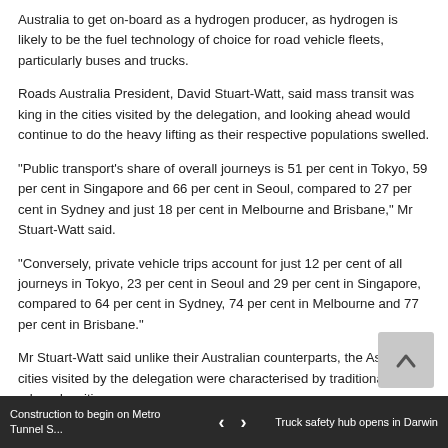Australia to get on-board as a hydrogen producer, as hydrogen is likely to be the fuel technology of choice for road vehicle fleets, particularly buses and trucks.
Roads Australia President, David Stuart-Watt, said mass transit was king in the cities visited by the delegation, and looking ahead would continue to do the heavy lifting as their respective populations swelled.
"Public transport's share of overall journeys is 51 per cent in Tokyo, 59 per cent in Singapore and 66 per cent in Seoul, compared to 27 per cent in Sydney and just 18 per cent in Melbourne and Brisbane," Mr Stuart-Watt said.
"Conversely, private vehicle trips account for just 12 per cent of all journeys in Tokyo, 23 per cent in Seoul and 29 per cent in Singapore, compared to 64 per cent in Sydney, 74 per cent in Melbourne and 77 per cent in Brisbane."
Mr Stuart-Watt said unlike their Australian counterparts, the Asian cities visited by the delegation were characterised by traditionally high urban densities.
"Our Australian cities have developed outwards rather than inwards and upwards, and off a far smaller population base. Consequently, our
Construction to begin on Metro Tunnel S...   <   >   Truck safety hub opens in Darwin